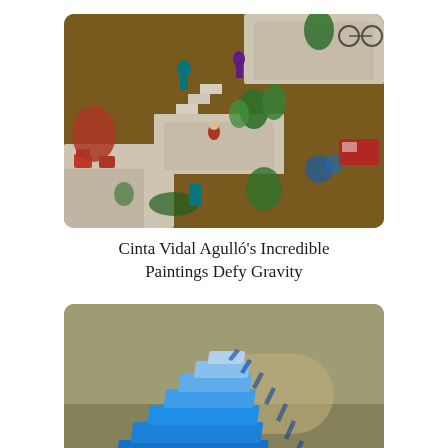[Figure (photo): Aerial view of a surreal painting showing multi-level white terraced architecture with people, plants, cars, and water surrounding the structures — defying gravity.]
Cinta Vidal Agulló's Incredible Paintings Defy Gravity
[Figure (photo): A blue stepped pyramid (ziggurat) sculpture on a grassy lawn, with a dark mirrored shadow-like reflection beneath it connecting downward.]
Mirrored Ziggurat Connects The